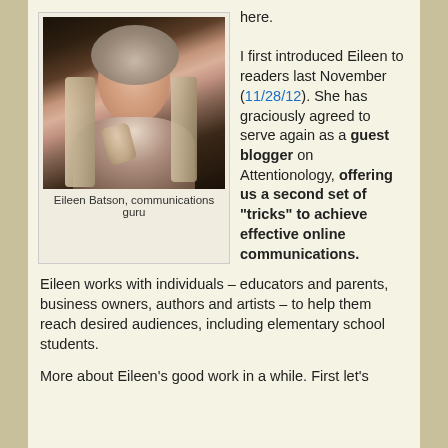[Figure (photo): Portrait photo of Eileen Batson, a woman with silver-streaked hair wearing a black outfit and sparkly accessories, posing with hand near chin]
Eileen Batson, communications guru
here.

I first introduced Eileen to readers last November (11/28/12). She has graciously agreed to serve again as a guest blogger on Attentionology, offering us a second set of "tricks" to achieve effective online communications.
Eileen works with individuals – educators and parents, business owners, authors and artists – to help them reach desired audiences, including elementary school students.
More about Eileen's good work in a while. First let's